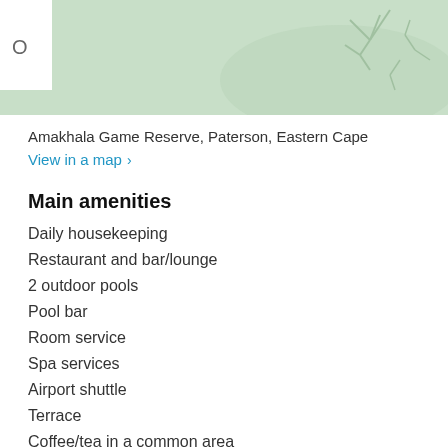[Figure (map): Map view showing Amakhala Game Reserve area with green terrain and a partial white overlay on the left side with letter O visible]
Amakhala Game Reserve, Paterson, Eastern Cape
View in a map  ›
Main amenities
Daily housekeeping
Restaurant and bar/lounge
2 outdoor pools
Pool bar
Room service
Spa services
Airport shuttle
Terrace
Coffee/tea in a common area
Air conditioning
Garden
Lobby fireplace